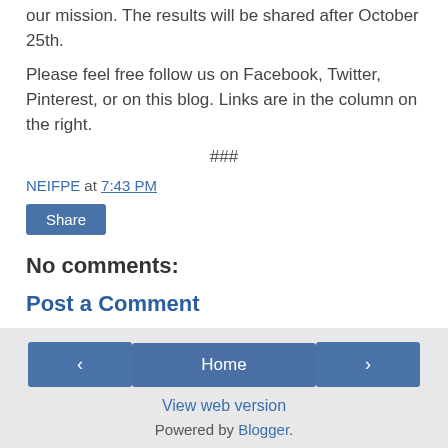our mission. The results will be shared after October 25th.
Please feel free follow us on Facebook, Twitter, Pinterest, or on this blog. Links are in the column on the right.
###
NEIFPE at 7:43 PM
Share
No comments:
Post a Comment
‹   Home   ›   View web version   Powered by Blogger.